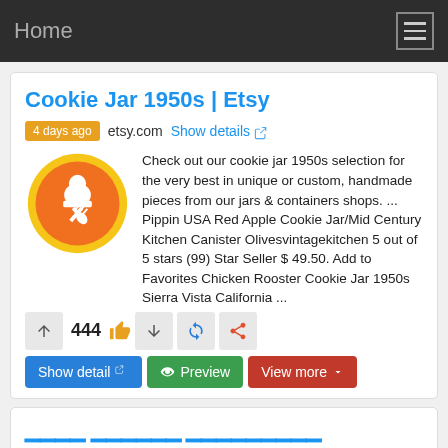Home
Cookie Jar 1950s | Etsy
4 days ago  etsy.com  Show details
[Figure (logo): Etsy circular orange logo with white chef hat, spoon and fork crossed on yellow ring]
Check out our cookie jar 1950s selection for the very best in unique or custom, handmade pieces from our jars & containers shops. ... Pippin USA Red Apple Cookie Jar/Mid Century Kitchen Canister Olivesvintagekitchen 5 out of 5 stars (99) Star Seller $ 49.50. Add to Favorites Chicken Rooster Cookie Jar 1950s Sierra Vista California ...
444
Show detail  Preview  View more